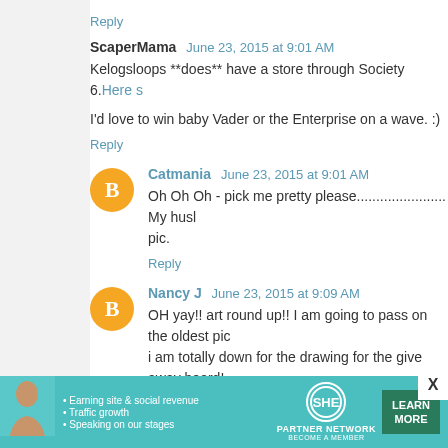Reply
ScaperMama  June 23, 2015 at 9:01 AM
Kelogsloops **does** have a store through Society 6.Here s
I'd love to win baby Vader or the Enterprise on a wave. :)
Reply
Catmania  June 23, 2015 at 9:01 AM
Oh Oh Oh - pick me pretty please....................... My husl pic.
Reply
Nancy J  June 23, 2015 at 9:09 AM
OH yay!! art round up!! I am going to pass on the oldest pic i am totally down for the drawing for the give away board! digging the art nouveau designs by Lettie Bug I am going t spend so much time drooling over cute artwork it makes my
Reply
[Figure (infographic): SHE Partner Network advertisement banner with teal background, woman photo, bullet points about earning site & social revenue, traffic growth, speaking on our stages, SHE logo, and Learn More button]